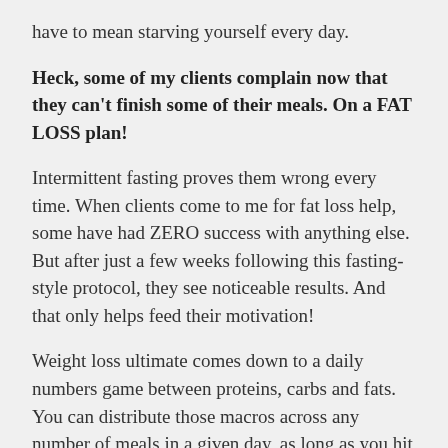have to mean starving yourself every day.
Heck, some of my clients complain now that they can't finish some of their meals. On a FAT LOSS plan!
Intermittent fasting proves them wrong every time. When clients come to me for fat loss help, some have had ZERO success with anything else. But after just a few weeks following this fasting-style protocol, they see noticeable results. And that only helps feed their motivation!
Weight loss ultimate comes down to a daily numbers game between proteins, carbs and fats. You can distribute those macros across any number of meals in a given day, as long as you hit the appropriate totals in relation to your goals. Fewer meals mean larger portions, along with some strategic caffeine use and